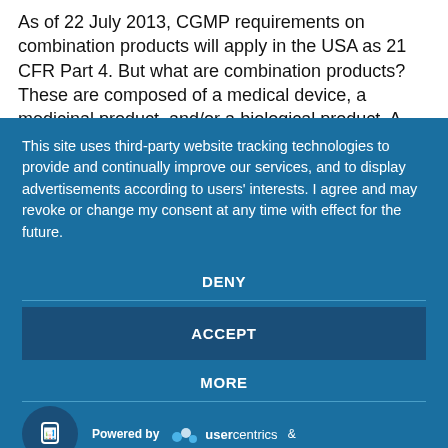As of 22 July 2013, CGMP requirements on combination products will apply in the USA as 21 CFR Part 4. But what are combination products? These are composed of a medical device, a medicinal product, and/or a biological product. A
This site uses third-party website tracking technologies to provide and continually improve our services, and to display advertisements according to users' interests. I agree and may revoke or change my consent at any time with effect for the future.
DENY
ACCEPT
MORE
Powered by usercentrics &